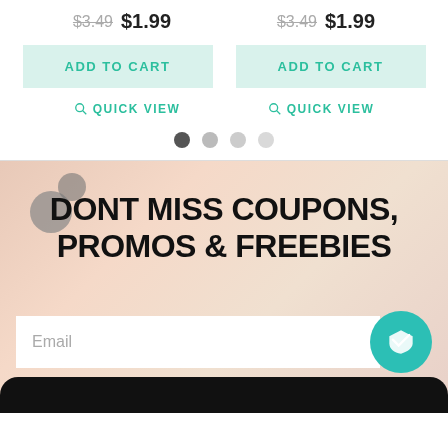$3.49  $1.99   $3.49  $1.99
ADD TO CART   ADD TO CART
QUICK VIEW   QUICK VIEW
[Figure (other): Pagination dots: four circles, first dark, rest light grey]
[Figure (photo): Baby with floral outfit and balloon plush toys on pink background, with overlay text: DONT MISS COUPONS, PROMOS & FREEBIES, email input field, and teal submit button]
DONT MISS COUPONS, PROMOS & FREEBIES
Email